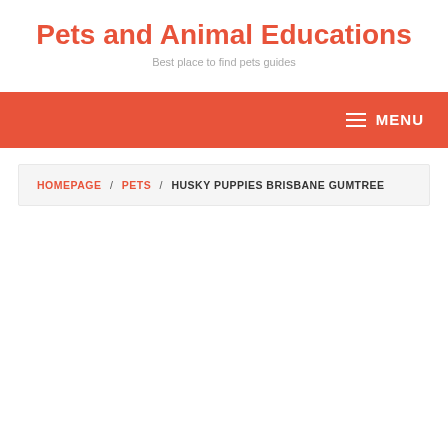Pets and Animal Educations
Best place to find pets guides
MENU
HOMEPAGE / PETS / HUSKY PUPPIES BRISBANE GUMTREE